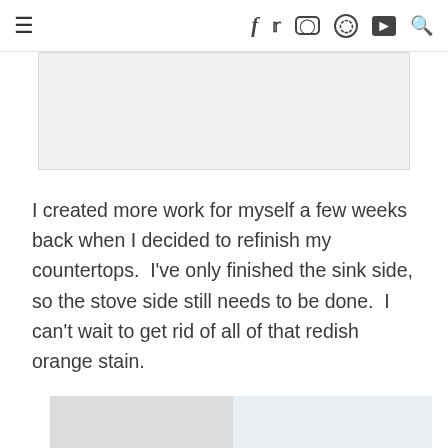≡  f  𝕏  ⊙  ⊙  ▶  🔍
[Figure (other): Grey advertisement banner placeholder]
I created more work for myself a few weeks back when I decided to refinish my countertops.  I've only finished the sink side, so the stove side still needs to be done.  I can't wait to get rid of all of that redish orange stain.
[Figure (photo): Partial photo of countertop area, split into two tones: light grey on left and light blue/white on right]